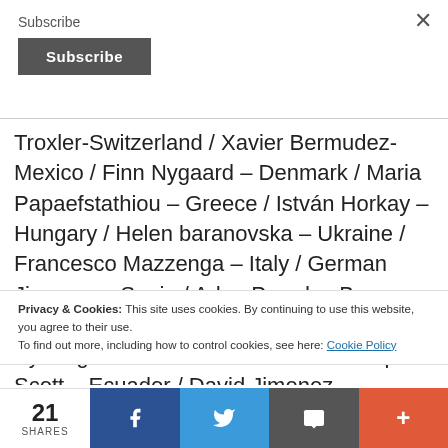Subscribe
Subscribe (button)
Troxler-Switzerland / Xavier Bermudez-Mexico / Finn Nygaard – Denmark / Maria Papaefstathiou – Greece / István Horkay – Hungary / Helen baranovska – Ukraine / Francesco Mazzenga – Italy / German Jimenez – Spain / Adan Paredes Barrera – Mexico / Arafat Al Naim – Emirates / Byoung il Sun – South Korea / Christopher Scott – Ecuador / David Jimenez – France / Denem Arshev Turkey / Elena Gomez Mario
Privacy & Cookies: This site uses cookies. By continuing to use this website, you agree to their use. To find out more, including how to control cookies, see here: Cookie Policy
21 SHARES